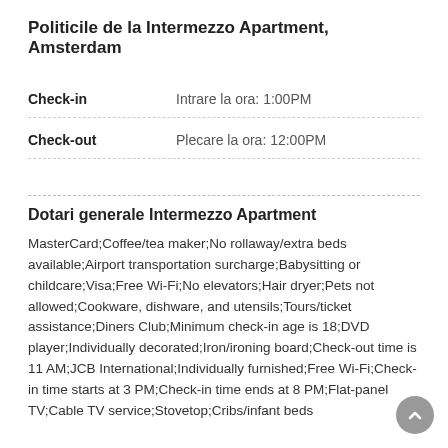Politicile de la Intermezzo Apartment, Amsterdam
| Check-in | Intrare la ora: 1:00PM |
| Check-out | Plecare la ora: 12:00PM |
Dotari generale Intermezzo Apartment
MasterCard;Coffee/tea maker;No rollaway/extra beds available;Airport transportation surcharge;Babysitting or childcare;Visa;Free Wi-Fi;No elevators;Hair dryer;Pets not allowed;Cookware, dishware, and utensils;Tours/ticket assistance;Diners Club;Minimum check-in age is 18;DVD player;Individually decorated;Iron/ironing board;Check-out time is 11 AM;JCB International;Individually furnished;Free Wi-Fi;Check-in time starts at 3 PM;Check-in time ends at 8 PM;Flat-panel TV;Cable TV service;Stovetop;Cribs/infant beds